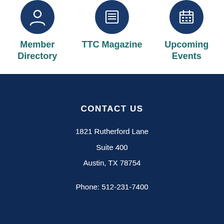[Figure (illustration): Three circular dark blue icon buttons in a row: a person/member icon, a document/magazine icon, and a grid/calendar icon]
Member Directory
TTC Magazine
Upcoming Events
CONTACT US
1821 Rutherford Lane
Suite 400
Austin, TX 78754
Phone: 512-231-7400